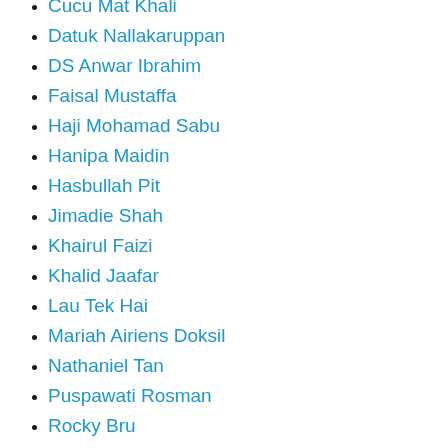Cucu Mat Khali
Datuk Nallakaruppan
DS Anwar Ibrahim
Faisal Mustaffa
Haji Mohamad Sabu
Hanipa Maidin
Hasbullah Pit
Jimadie Shah
Khairul Faizi
Khalid Jaafar
Lau Tek Hai
Mariah Airiens Doksil
Nathaniel Tan
Puspawati Rosman
Rocky Bru
Rustam A. Sani
Sharifah Shahidah